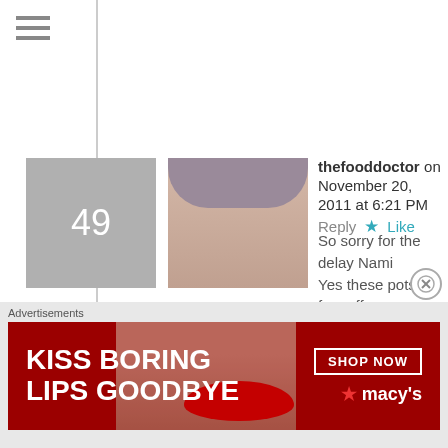[Figure (screenshot): Hamburger menu icon (three horizontal lines) in top left]
49 — thefooddoctor on November 20, 2011 at 6:21 PM  Reply  Like
So sorry for the delay Nami
Yes these pots are for coffee, Turkish coffeee to be specific
50 — xandimusic on November 6, 2011 at 10:36 PM  Reply  Like
These pics make me hungry!! Very nice!
And perfect name-TheFoodDoctor......
Advertisements
[Figure (photo): Macy's advertisement banner: KISS BORING LIPS GOODBYE with woman's face, SHOP NOW button and Macy's star logo]